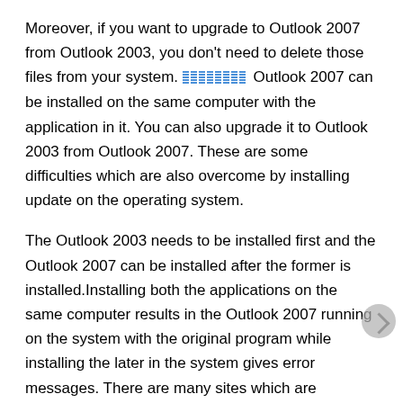Moreover, if you want to upgrade to Outlook 2007 from Outlook 2003, you don't need to delete those files from your system. [icon] Outlook 2007 can be installed on the same computer with the application in it. You can also upgrade it to Outlook 2003 from Outlook 2007. These are some difficulties which are also overcome by installing update on the operating system.
The Outlook 2003 needs to be installed first and the Outlook 2007 can be installed after the former is installed.Installing both the applications on the same computer results in the Outlook 2007 running on the system with the original program while installing the later in the system gives error messages. There are many sites which are available for providing the downloads for both the applications together with the sides of instructions to resolve the problems.